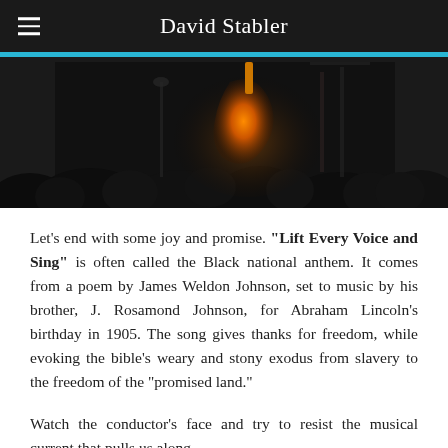David Stabler
[Figure (photo): Dark concert hall photo showing audience silhouettes in foreground and a glowing orange cello or bass instrument on stage in the background]
Let's end with some joy and promise. "Lift Every Voice and Sing" is often called the Black national anthem. It comes from a poem by James Weldon Johnson, set to music by his brother, J. Rosamond Johnson, for Abraham Lincoln's birthday in 1905. The song gives thanks for freedom, while evoking the bible's weary and stony exodus from slavery to the freedom of the "promised land."
Watch the conductor's face and try to resist the musical current that pulls us along.